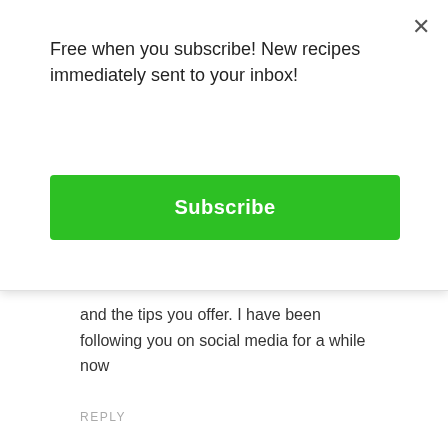Free when you subscribe! New recipes immediately sent to your inbox!
Subscribe
and the tips you offer. I have been following you on social media for a while now
REPLY
Sharanya
August 4, 2018 at 6:37 pm
I want to try your AF stuffed portobello mushrooms